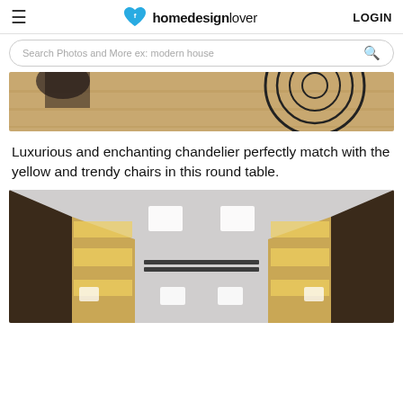homedesignlover | LOGIN
Search Photos and More ex: modern house
[Figure (photo): Partial photo of a room interior showing a wooden floor and a circular chandelier/ceiling fixture with black metal rings, cropped at top]
Luxurious and enchanting chandelier perfectly match with the yellow and trendy chairs in this round table.
[Figure (photo): Interior corridor or hallway photo showing recessed rectangular ceiling lights, dark-framed glass walls/panels on either side with warm lighting behind, light gray ceiling viewed from below]